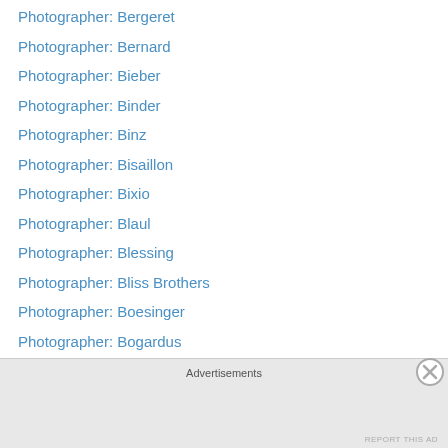Photographer: Bergeret
Photographer: Bernard
Photographer: Bieber
Photographer: Binder
Photographer: Binz
Photographer: Bisaillon
Photographer: Bixio
Photographer: Blaul
Photographer: Blessing
Photographer: Bliss Brothers
Photographer: Boesinger
Photographer: Bogardus
photographer: Bonell
Photographer: Bonine
Photographer: Bostwick
Photographer: Bourne & Sheperd
Photographer: Boyer
Advertisements
REPORT THIS AD